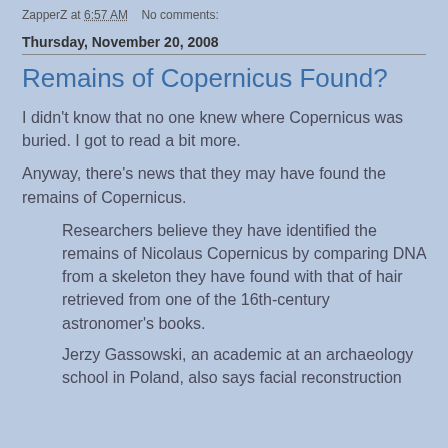ZapperZ at 6:57 AM    No comments:
Thursday, November 20, 2008
Remains of Copernicus Found?
I didn't know that no one knew where Copernicus was buried. I got to read a bit more.
Anyway, there's news that they may have found the remains of Copernicus.
Researchers believe they have identified the remains of Nicolaus Copernicus by comparing DNA from a skeleton they have found with that of hair retrieved from one of the 16th-century astronomer's books.
Jerzy Gassowski, an academic at an archaeology school in Poland, also says facial reconstruction